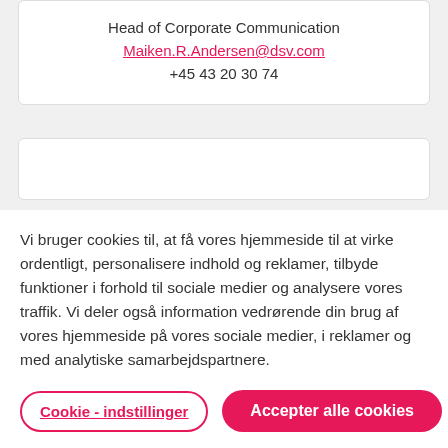Head of Corporate Communication
Maiken.R.Andersen@dsv.com
+45 43 20 30 74
Vi bruger cookies til, at få vores hjemmeside til at virke ordentligt, personalisere indhold og reklamer, tilbyde funktioner i forhold til sociale medier og analysere vores traffik. Vi deler også information vedrørende din brug af vores hjemmeside på vores sociale medier, i reklamer og med analytiske samarbejdspartnere.
Cookie - indstillinger
Accepter alle cookies